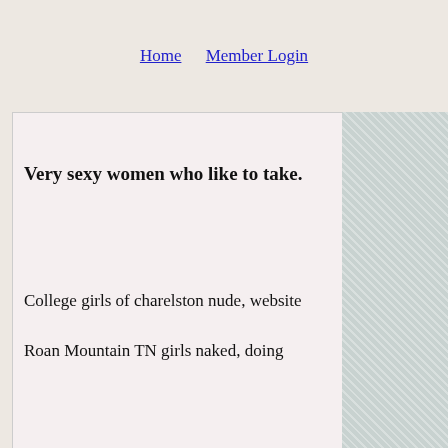Home   Member Login
Very sexy women who like to take.
College girls of charelston nude, website
Roan Mountain TN girls naked, doing